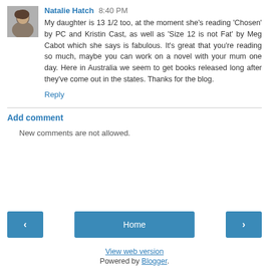[Figure (photo): Avatar photo of Natalie Hatch, a woman with short dark hair]
Natalie Hatch 8:40 PM
My daughter is 13 1/2 too, at the moment she's reading 'Chosen' by PC and Kristin Cast, as well as 'Size 12 is not Fat' by Meg Cabot which she says is fabulous. It's great that you're reading so much, maybe you can work on a novel with your mum one day. Here in Australia we seem to get books released long after they've come out in the states. Thanks for the blog.
Reply
Add comment
New comments are not allowed.
Home
View web version
Powered by Blogger.